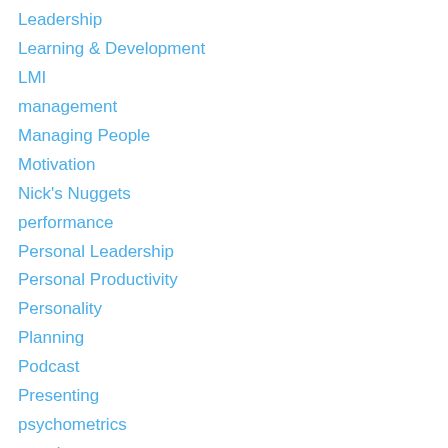Leadership
Learning & Development
LMI
management
Managing People
Motivation
Nick's Nuggets
performance
Personal Leadership
Personal Productivity
Personality
Planning
Podcast
Presenting
psychometrics
recruitment
Reflective Log
relationships
Results
ROI